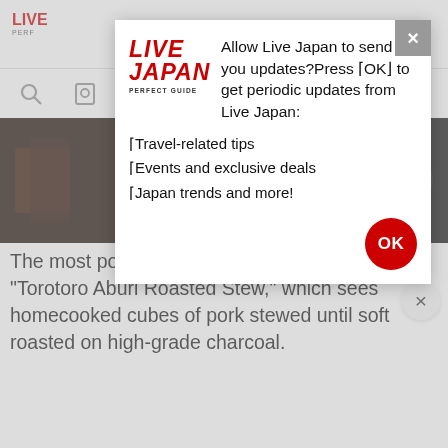LIVE JAPAN PERFECT GUIDE
[Figure (screenshot): Partial photo of dark food item on left and dark background on right]
[Figure (infographic): Modal popup dialog from Live Japan website asking user to allow push notifications. Contains Live Japan logo, prompt text 'Allow Live Japan to send you updates?Press OK to get periodic updates from Live Japan:', bullet list with Travel-related tips, Events and exclusive deals, Japan trends and more!, and a red OK button. Red X close button in top right.]
The most popular curry dish at SARAKO is the "Torotoro Aburi Roasted Stew," which sees homecooked cubes of pork stewed until soft roasted on high-grade charcoal.
The dish is only served until stock runs out, so whether you'll be able to order it or not is up to luck and timing.